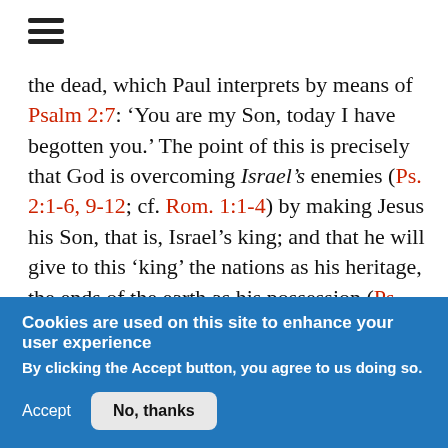[Figure (other): Hamburger menu icon (three horizontal lines)]
the dead, which Paul interprets by means of Psalm 2:7: ‘You are my Son, today I have begotten you.’ The point of this is precisely that God is overcoming Israel’s enemies (Ps. 2:1-6, 9-12; cf. Rom. 1:1-4) by making Jesus his Son, that is, Israel’s king; and that he will give to this ‘king’ the nations as his heritage, the ends of the earth as his possession (Ps. 2:8). The good news to Israel, therefore, is that through the current crisis of judgment and restoration, which Jesus spoke of as the
Cookies are used on this site to enhance your user experience
By clicking the Accept button, you agree to us doing so.
Accept
No, thanks